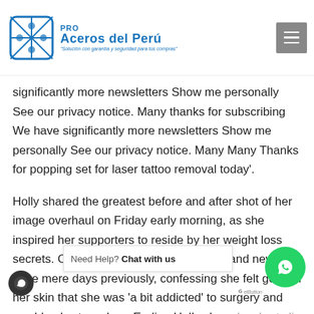Pro Aceros del Perú – Solución con garantía y seguridad para tus compras
British household standard at this resort by 10% and of more. However, Facts after set apart after Chloe Ferry shared a short clip of her focusing on the celebrity alongside the event. Thank you for subscribing We have significantly more newsletters Show me personally See our privacy notice. Many thanks for subscribing We have significantly more newsletters Show me personally See our privacy notice. Many Many Thanks for popping set for laser tattoo removal today'.
Holly shared the greatest before and after shot of her image overhaul on Friday early morning, as she inspired her supporters to reside by her weight loss secrets. Chloe, 21, revealed her brand brand new nose mere days previously, confessing she felt good in her skin that she was 'a bit addicted' to surgery and would only stop when. Earlier, Holly shared a short clip of her focusing on the celebrity alongside in the MTV truth show, recording her complete image change and weight reduction. More svelte, advanced and grown